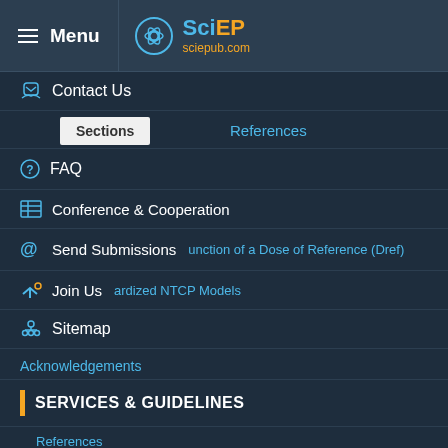Menu | SciEP sciepub.com
Contact Us
Sections / References
FAQ
Conference & Cooperation
Send Submissions
Join Us
Sitemap
Acknowledgements
SERVICES & GUIDELINES
References
For Authors
For Referees
For Advertisers